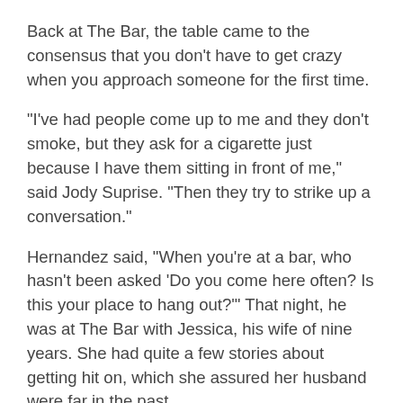Back at The Bar, the table came to the consensus that you don't have to get crazy when you approach someone for the first time.
“I’ve had people come up to me and they don’t smoke, but they ask for a cigarette just because I have them sitting in front of me,” said Jody Suprise. “Then they try to strike up a conversation.”
Hernandez said, “When you’re at a bar, who hasn’t been asked ‘Do you come here often? Is this your place to hang out?’” That night, he was at The Bar with Jessica, his wife of nine years. She had quite a few stories about getting hit on, which she assured her husband were far in the past.
There is one opening line Jessica suggested all